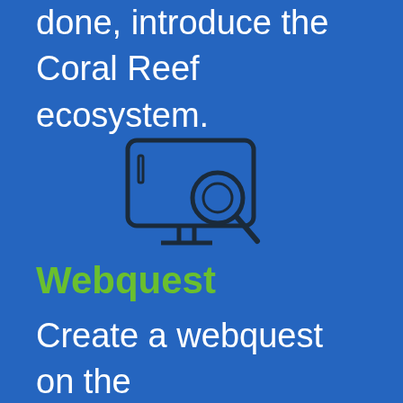elements interact. Once this is done, introduce the Coral Reef ecosystem.
[Figure (illustration): Icon of a computer monitor with a magnifying glass overlay, drawn in dark blue outline style on blue background]
Webquest
Create a webquest on the corals and fish that live on a